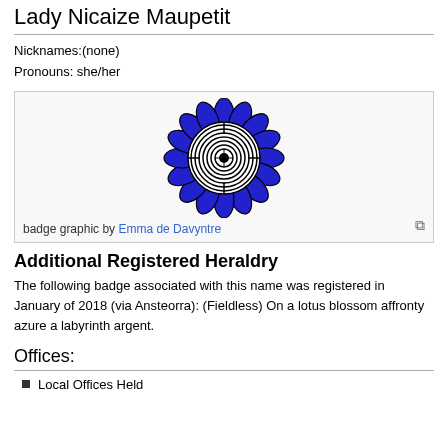Lady Nicaize Maupetit
Nicknames:(none)
Pronouns: she/her
[Figure (illustration): Heraldic badge graphic showing a blue lotus blossom affronty with a labyrinth argent (silver/white circular labyrinth on a blue flower). Badge graphic by Emma de Davyntre.]
badge graphic by Emma de Davyntre
Additional Registered Heraldry
The following badge associated with this name was registered in January of 2018 (via Ansteorra): (Fieldless) On a lotus blossom affronty azure a labyrinth argent.
Offices:
Local Offices Held